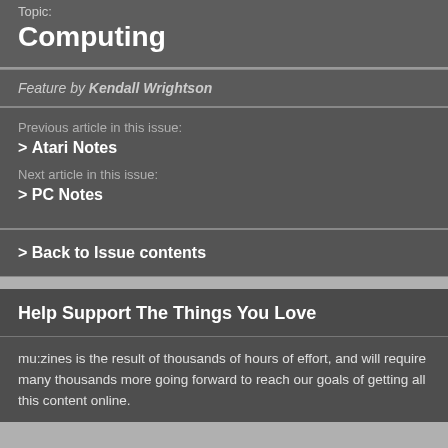Topic:
Computing
Feature by Kendall Wrightson
Previous article in this issue:
> Atari Notes
Next article in this issue:
> PC Notes
> Back to Issue contents
Help Support The Things You Love
mu:zines is the result of thousands of hours of effort, and will require many thousands more going forward to reach our goals of getting all this content online.